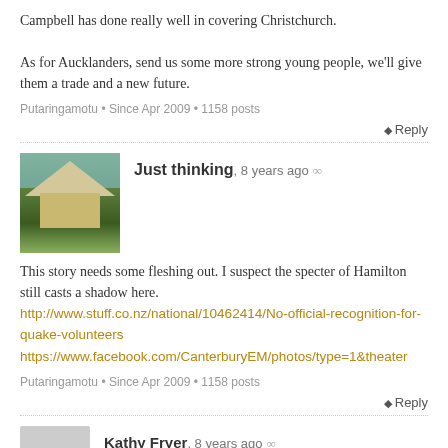Campbell has done really well in covering Christchurch.

As for Aucklanders, send us some more strong young people, we'll give them a trade and a new future.
Putaringamotu • Since Apr 2009 • 1158 posts
Reply
Just thinking, 8 years ago ∞
This story needs some fleshing out. I suspect the specter of Hamilton still casts a shadow here.
http://www.stuff.co.nz/national/10462414/No-official-recognition-for-quake-volunteers
https://www.facebook.com/CanterburyEM/photos/type=1&theater
Putaringamotu • Since Apr 2009 • 1158 posts
Reply
Kathy Fryer, 8 years ago ∞